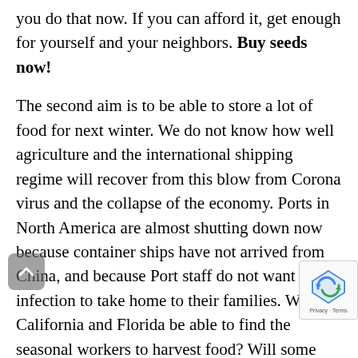you do that now. If you can afford it, get enough for yourself and your neighbors. Buy seeds now!
The second aim is to be able to store a lot of food for next winter. We do not know how well agriculture and the international shipping regime will recover from this blow from Corona virus and the collapse of the economy. Ports in North America are almost shutting down now because container ships have not arrived from China, and because Port staff do not want to risk infection to take home to their families. Will California and Florida be able to find the seasonal workers to harvest food? Will some farmers go bankrupt? Will we also suffer more drought and extreme heat events this summer?